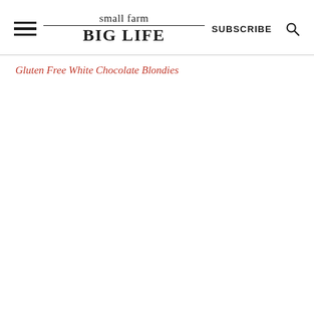small farm BIG LIFE | SUBSCRIBE
Gluten Free White Chocolate Blondies